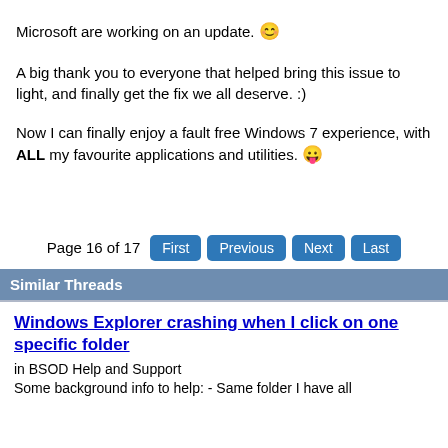Microsoft are working on an update. 😊
A big thank you to everyone that helped bring this issue to light, and finally get the fix we all deserve. :)
Now I can finally enjoy a fault free Windows 7 experience, with ALL my favourite applications and utilities. 😛
Page 16 of 17  First  Previous  Next  Last
Similar Threads
Windows Explorer crashing when I click on one specific folder
in BSOD Help and Support
Some background info to help: - Same folder I have all